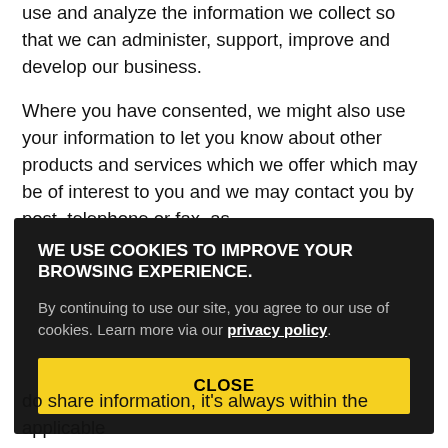use and analyze the information we collect so that we can administer, support, improve and develop our business.
Where you have consented, we might also use your information to let you know about other products and services which we offer which may be of interest to you and we may contact you by post, telephone or fax, as
[Figure (screenshot): Cookie consent overlay with dark background. Title: 'WE USE COOKIES TO IMPROVE YOUR BROWSING EXPERIENCE.' Body text: 'By continuing to use our site, you agree to our use of cookies. Learn more via our privacy policy.' Yellow CLOSE button at bottom.]
do share information, it's always within the applicable